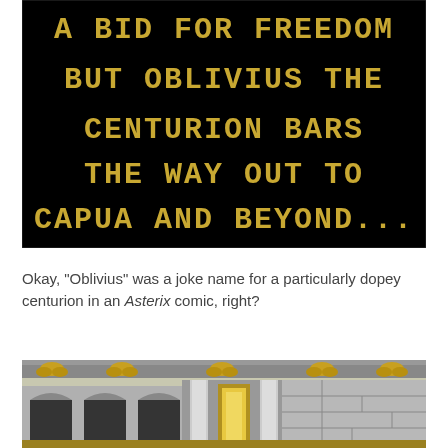[Figure (screenshot): Retro video game screenshot with black background showing golden pixel text: 'A BID FOR FREEDOM BUT OBLIVIUS THE CENTURION BARS THE WAY OUT TO CAPUA AND BEYOND...']
Okay, "Oblivius" was a joke name for a particularly dopey centurion in an Asterix comic, right?
[Figure (screenshot): Retro video game screenshot showing a stone building interior/exterior with arches, columns, and golden decorative elements along the top border.]